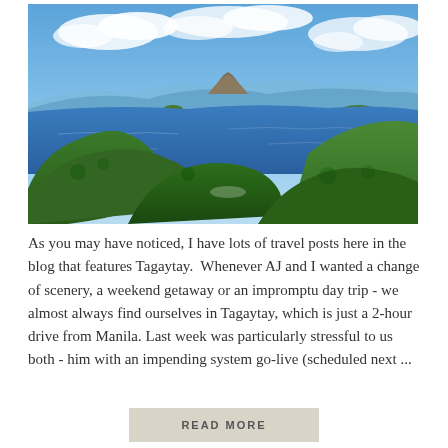[Figure (photo): Aerial landscape photograph of Tagaytay showing green forested hills in the foreground, a large blue lake (Taal Lake) in the middle ground with a volcanic island, and a partly cloudy blue sky in the background.]
As you may have noticed, I have lots of travel posts here in the blog that features Tagaytay.  Whenever AJ and I wanted a change of scenery, a weekend getaway or an impromptu day trip - we almost always find ourselves in Tagaytay, which is just a 2-hour drive from Manila. Last week was particularly stressful to us both - him with an impending system go-live (scheduled next ...
READ MORE